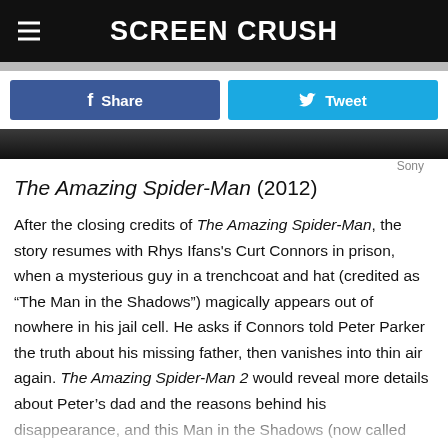SCREEN CRUSH
[Figure (other): Share and Tweet buttons row: Facebook Share button (dark blue) and Twitter Tweet button (light blue)]
[Figure (photo): Dark image strip, partial screenshot of a movie scene]
Sony
The Amazing Spider-Man (2012)
After the closing credits of The Amazing Spider-Man, the story resumes with Rhys Ifans's Curt Connors in prison, when a mysterious guy in a trenchcoat and hat (credited as “The Man in the Shadows”) magically appears out of nowhere in his jail cell. He asks if Connors told Peter Parker the truth about his missing father, then vanishes into thin air again. The Amazing Spider-Man 2 would reveal more details about Peter’s dad and the reasons behind his disappearance, and this Man in the Shadows (now called “The Gentleman”) would